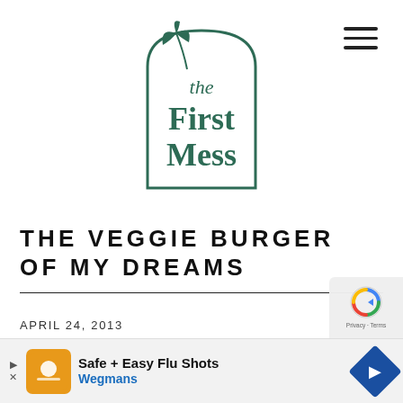[Figure (logo): The First Mess logo — arch shape with botanical leaf illustration above, italic 'the' and serif bold 'First Mess' text inside]
THE VEGGIE BURGER OF MY DREAMS
APRIL 24, 2013
(LAST UPDATED NOVEMBER 18, 2021)
[Figure (screenshot): Advertisement banner: Safe + Easy Flu Shots - Wegmans]